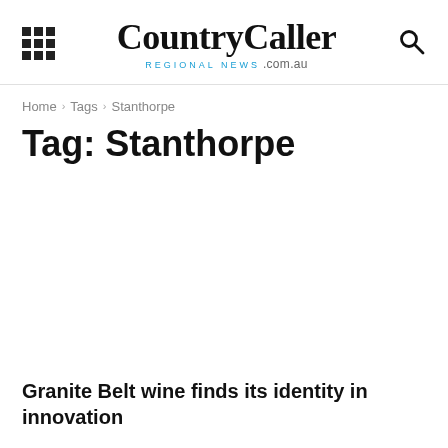CountryCaller REGIONAL NEWS .com.au
Home › Tags › Stanthorpe
Tag: Stanthorpe
Granite Belt wine finds its identity in innovation